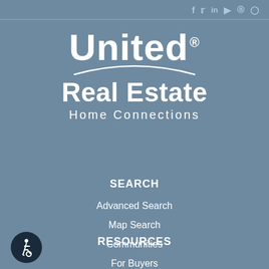f  in  ▶   pinterest  instagram (social media icons)
[Figure (logo): United Real Estate Home Connections logo: large white 'United®' text with arc swoosh underneath, bold 'Real Estate' below, then 'Home Connections' in smaller spaced letters]
SEARCH
Advanced Search
Map Search
Communities
RESOURCES
For Buyers
[Figure (illustration): Accessibility icon: dark navy circle with white wheelchair accessible symbol]